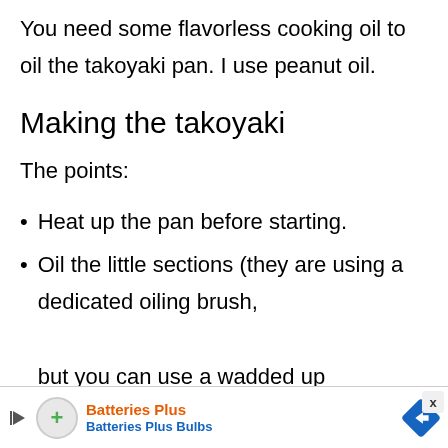You need some flavorless cooking oil to oil the takoyaki pan. I use peanut oil.
Making the takoyaki
The points:
Heat up the pan before starting.
Oil the little sections (they are using a dedicated oiling brush, but you can use a wadded up
[Figure (infographic): Batteries Plus advertisement banner at bottom of page showing Batteries Plus Bulbs logo with play button, green plus icon, orange text 'Batteries Plus', blue text 'Batteries Plus Bulbs', blue diamond navigation icon, and X close button.]